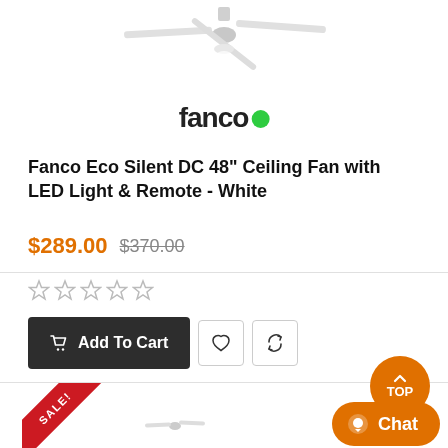[Figure (photo): Ceiling fan product image, white fan with three blades viewed from below-side angle]
[Figure (logo): Fanco brand logo: text 'fanco' with green dot replacing the 'o']
Fanco Eco Silent DC 48" Ceiling Fan with LED Light & Remote - White
$289.00 $370.00
[Figure (other): Five empty star rating icons]
Add To Cart
[Figure (photo): Second ceiling fan product below, partially visible, with SALE! ribbon badge]
[Figure (other): TOP scroll-to-top orange circular button]
[Figure (other): Chat orange pill button with chat bubble icon]